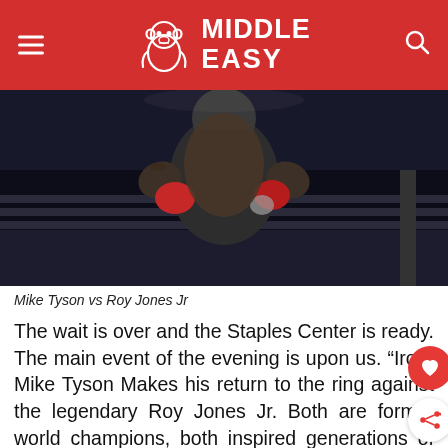MIDDLE EASY
[Figure (photo): Boxing match photo showing Mike Tyson in the ring wearing red gloves, shirtless, with boxing ring ropes visible in the background on a dark arena setting.]
Mike Tyson vs Roy Jones Jr
The wait is over and the Staples Center is ready. The main event of the evening is upon us. “Iron” Mike Tyson Makes his return to the ring against the legendary Roy Jones Jr. Both are former world champions, both inspired generations of fighters and fans all around the world. Now they come out of retirement to face each other for